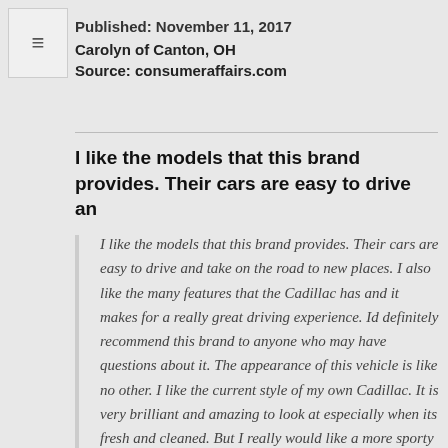Published: November 11, 2017
Carolyn of Canton, OH
Source: consumeraffairs.com
I like the models that this brand provides. Their cars are easy to drive an
I like the models that this brand provides. Their cars are easy to drive and take on the road to new places. I also like the many features that the Cadillac has and it makes for a really great driving experience. Id definitely recommend this brand to anyone who may have questions about it. The appearance of this vehicle is like no other. I like the current style of my own Cadillac. It is very brilliant and amazing to look at especially when its fresh and cleaned. But I really would like a more sporty look to should off on the road. I also like the various upgrades of the vehicle and